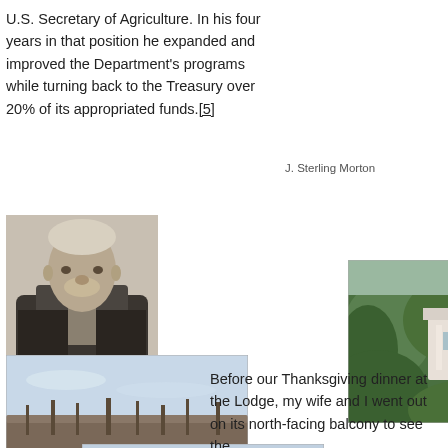U.S. Secretary of Agriculture. In his four years in that position he expanded and improved the Department's programs while turning back to the Treasury over 20% of its appropriated funds.[5]
[Figure (photo): Black and white portrait photograph of J. Sterling Morton, an older man in formal attire]
J. Sterling Morton
[Figure (photo): Landscape photograph showing bare trees and fields in autumn or winter]
[Figure (photo): Photograph showing a white house or building visible through dense green trees]
[Figure (photo): Photograph of a large white neoclassical building with columns, the Lodge]
Before our Thanksgiving dinner at the Lodge, my wife and I went out on its north-facing balcony to see the